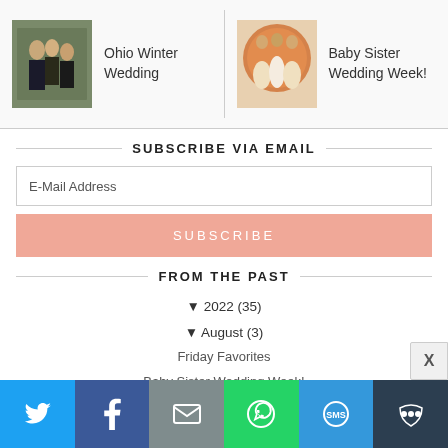[Figure (photo): Thumbnail photo for Ohio Winter Wedding post - people in dark clothing outdoors]
Ohio Winter Wedding
[Figure (photo): Thumbnail photo for Baby Sister Wedding Week post - people in front of orange circular backdrop]
Baby Sister Wedding Week!
SUBSCRIBE VIA EMAIL
E-Mail Address
SUBSCRIBE
FROM THE PAST
▼ 2022 (35)
▼ August (3)
Friday Favorites
Baby Sister Wedding Week!